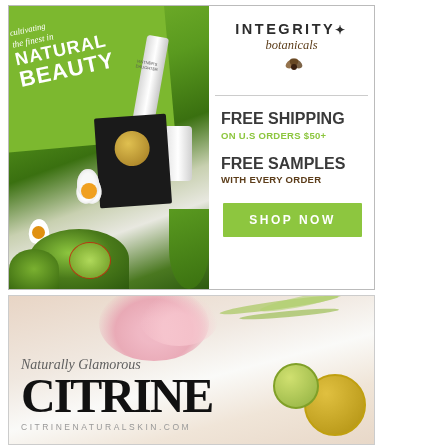[Figure (infographic): Integrity Botanicals advertisement with green banner reading 'Cultivating the finest in Natural Beauty', natural beauty products, flowers and succulents. Right side shows logo, free shipping on U.S. orders $50+, free samples with every order, and Shop Now button.]
[Figure (infographic): Citrine Natural Skin advertisement with pink and green flowers, cosmetics jars, text reading 'Naturally Glamorous', large CITRINE heading, and CITRINENATURALSKIN.COM url.]